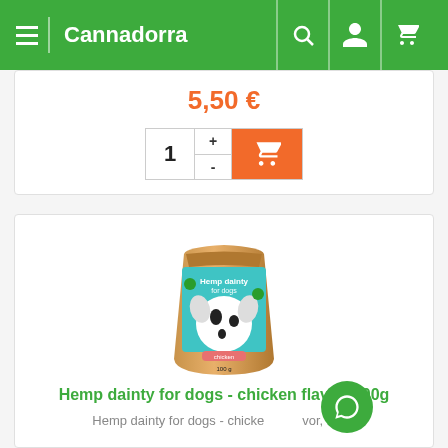Cannadorra
5,50 €
[Figure (screenshot): Quantity selector with + and - buttons and an orange add-to-cart button with a shopping cart icon. Quantity shows 1.]
[Figure (photo): Product image: Hemp dainty for dogs - chicken flavor, 100g in a kraft paper stand-up pouch with a teal label showing a Dalmatian dog and the text 'Hemp dainty for dogs']
Hemp dainty for dogs - chicken flavor, 100g
Hemp dainty for dogs - chicken flavor, 100g